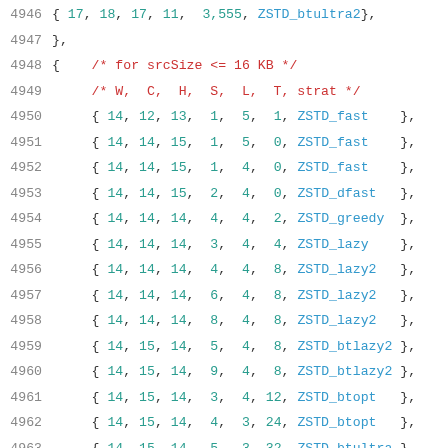4946   { 17, 18, 17, 11,  3,555, ZSTD_btultra2},
4947   },
4948   {    /* for srcSize <= 16 KB */
4949        /* W,  C,  H,  S,  L,  T, strat */
4950        { 14, 12, 13,  1,  5,  1, ZSTD_fast    },
4951        { 14, 14, 15,  1,  5,  0, ZSTD_fast    },
4952        { 14, 14, 15,  1,  4,  0, ZSTD_fast    },
4953        { 14, 14, 15,  2,  4,  0, ZSTD_dfast   },
4954        { 14, 14, 14,  4,  4,  2, ZSTD_greedy  },
4955        { 14, 14, 14,  3,  4,  4, ZSTD_lazy    },
4956        { 14, 14, 14,  4,  4,  8, ZSTD_lazy2   },
4957        { 14, 14, 14,  6,  4,  8, ZSTD_lazy2   },
4958        { 14, 14, 14,  8,  4,  8, ZSTD_lazy2   },
4959        { 14, 15, 14,  5,  4,  8, ZSTD_btlazy2 },
4960        { 14, 15, 14,  9,  4,  8, ZSTD_btlazy2 },
4961        { 14, 15, 14,  3,  4, 12, ZSTD_btopt   },
4962        { 14, 15, 14,  4,  3, 24, ZSTD_btopt   },
4963        { 14, 15, 14,  5,  3, 32, ZSTD_btultra },
4964        { 14, 15, 15,  6,  3, 64, ZSTD_btultra },
4965        { 14, 15, 15,  7,  3,256, ZSTD_btultra },
4966        { 14, 15, 15,  5,  3, 48, ZSTD_btultra2},
4967        { 14, 15, 15,  6,  3,128, ZSTD_btultra2}